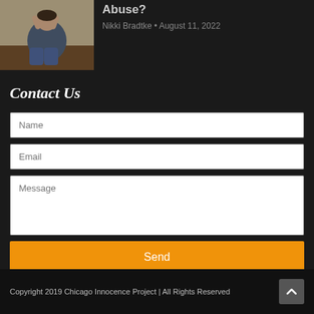[Figure (photo): Person sitting against a wall with hands raised to face, wearing jeans and a dark top]
Abuse?
Nikki Bradtke • August 11, 2022
Contact Us
Name
Email
Message
Send
Copyright 2019 Chicago Innocence Project | All Rights Reserved